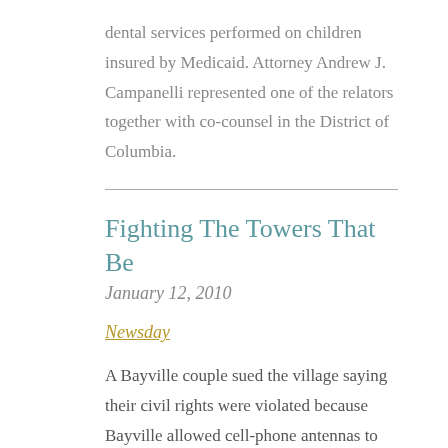dental services performed on children insured by Medicaid. Attorney Andrew J. Campanelli represented one of the relators together with co-counsel in the District of Columbia.
Fighting The Towers That Be
January 12, 2010
Newsday
A Bayville couple sued the village saying their civil rights were violated because Bayville allowed cell-phone antennas to be placed on the